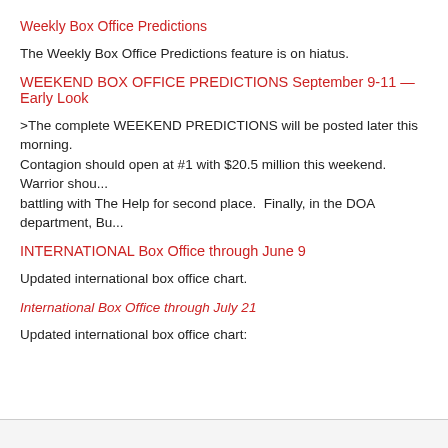Weekly Box Office Predictions
The Weekly Box Office Predictions feature is on hiatus.
WEEKEND BOX OFFICE PREDICTIONS September 9-11 — Early Look
>The complete WEEKEND PREDICTIONS will be posted later this morning. Contagion should open at #1 with $20.5 million this weekend.  Warrior shou... battling with The Help for second place.  Finally, in the DOA department, Bu...
INTERNATIONAL Box Office through June 9
Updated international box office chart.
International Box Office through July 21
Updated international box office chart: